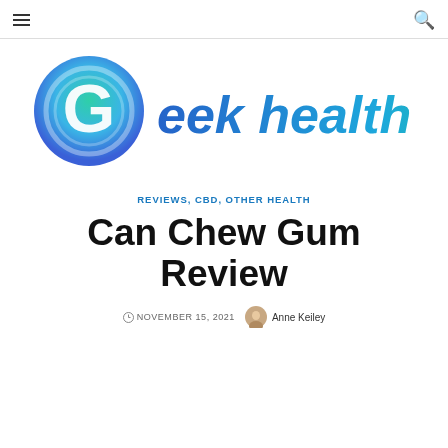Geek Health Journal — navigation bar with hamburger menu and search icon
[Figure (logo): Geek Health Journal logo: circular green-to-blue gradient icon with stylized G, followed by 'eek health journal' in blue-to-green gradient text]
REVIEWS, CBD, OTHER HEALTH
Can Chew Gum Review
NOVEMBER 15, 2021   Anne Keiley